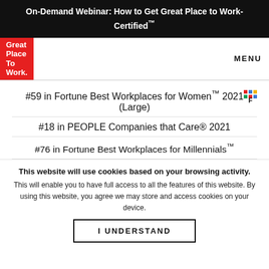On-Demand Webinar: How to Get Great Place to Work-Certified™
[Figure (logo): Great Place To Work red logo box]
MENU
#59 in Fortune Best Workplaces for Women™ 2021 (Large)
#18 in PEOPLE Companies that Care® 2021
#76 in Fortune Best Workplaces for Millennials™
This website will use cookies based on your browsing activity.
This will enable you to have full access to all the features of this website. By using this website, you agree we may store and access cookies on your device.
I UNDERSTAND